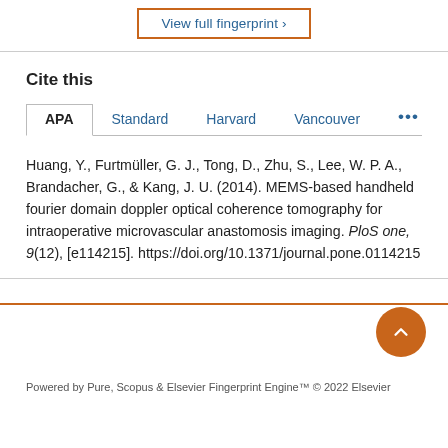[Figure (other): View full fingerprint button with orange border]
Cite this
APA  Standard  Harvard  Vancouver  ...
Huang, Y., Furtmüller, G. J., Tong, D., Zhu, S., Lee, W. P. A., Brandacher, G., & Kang, J. U. (2014). MEMS-based handheld fourier domain doppler optical coherence tomography for intraoperative microvascular anastomosis imaging. PloS one, 9(12), [e114215]. https://doi.org/10.1371/journal.pone.0114215
Powered by Pure, Scopus & Elsevier Fingerprint Engine™ © 2022 Elsevier